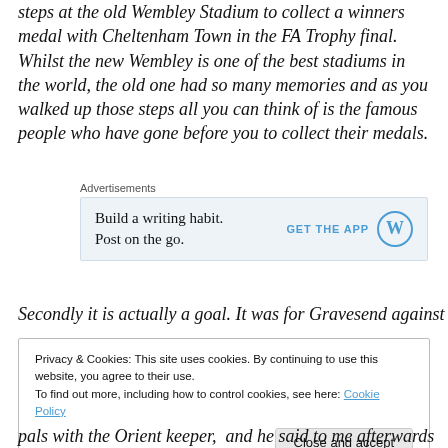steps at the old Wembley Stadium to collect a winners medal with Cheltenham Town in the FA Trophy final. Whilst the new Wembley is one of the best stadiums in the world, the old one had so many memories and as you walked up those steps all you can think of is the famous people who have gone before you to collect their medals.
[Figure (other): WordPress advertisement banner: 'Build a writing habit. Post on the go.' with GET THE APP button and WordPress logo]
Secondly it is actually a goal. It was for Gravesend against
Privacy & Cookies: This site uses cookies. By continuing to use this website, you agree to their use. To find out more, including how to control cookies, see here: Cookie Policy. Close and accept.
pals with the Orient keeper,  and he said to me afterwards